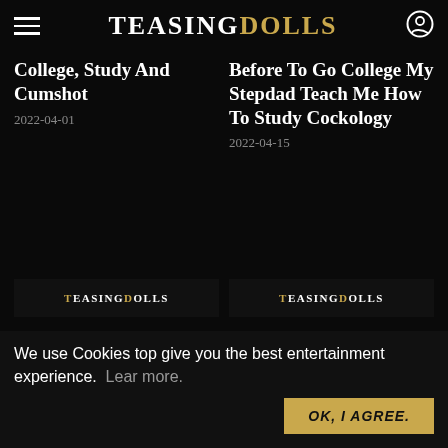TEASINGDOLLS
College, Study And Cumshot
2022-04-01
Before To Go College My Stepdad Teach Me How To Study Cockology
2022-04-15
[Figure (logo): TEASINGDOLLS logo placeholder (left)]
[Figure (logo): TEASINGDOLLS logo placeholder (right)]
We use Cookies top give you the best entertainment experience.  Lear more.
OK, I AGREE.